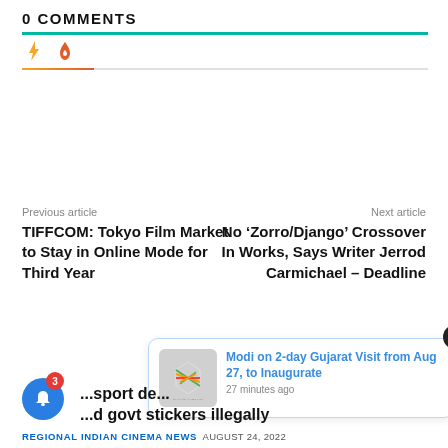0 COMMENTS
[Figure (infographic): Two icons: a yellow lightning bolt and a red/orange flame, with a teal separator line above and a gradient indicator line below.]
Previous article
Next article
TIFFCOM: Tokyo Film Market to Stay in Online Mode for Third Year
No ‘Zorro/Django’ Crossover In Works, Says Writer Jerrod Carmichael – Deadline
[Figure (infographic): Notification popup with logo thumbnail, headline 'Modi on 2-day Gujarat Visit from Aug 27, to Inaugurate', time '27 minutes ago', close X button, and blue bell notification icon with badge '3'.]
...sport de... govt stickers illegally
REGIONAL INDIAN CINEMA NEWS   AUGUST 24, 2022